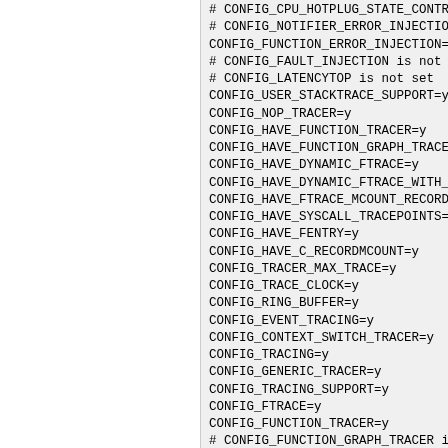# CONFIG_CPU_HOTPLUG_STATE_CONTR
# CONFIG_NOTIFIER_ERROR_INJECTIO
CONFIG_FUNCTION_ERROR_INJECTION=
# CONFIG_FAULT_INJECTION is not
# CONFIG_LATENCYTOP is not set
CONFIG_USER_STACKTRACE_SUPPORT=y
CONFIG_NOP_TRACER=y
CONFIG_HAVE_FUNCTION_TRACER=y
CONFIG_HAVE_FUNCTION_GRAPH_TRACE
CONFIG_HAVE_DYNAMIC_FTRACE=y
CONFIG_HAVE_DYNAMIC_FTRACE_WITH_
CONFIG_HAVE_FTRACE_MCOUNT_RECORD
CONFIG_HAVE_SYSCALL_TRACEPOINTS=
CONFIG_HAVE_FENTRY=y
CONFIG_HAVE_C_RECORDMCOUNT=y
CONFIG_TRACER_MAX_TRACE=y
CONFIG_TRACE_CLOCK=y
CONFIG_RING_BUFFER=y
CONFIG_EVENT_TRACING=y
CONFIG_CONTEXT_SWITCH_TRACER=y
CONFIG_TRACING=y
CONFIG_GENERIC_TRACER=y
CONFIG_TRACING_SUPPORT=y
CONFIG_FTRACE=y
CONFIG_FUNCTION_TRACER=y
# CONFIG_FUNCTION_GRAPH_TRACER i
# CONFIG_PREEMPT_TRACER is not s
CONFIG_MISSED_TIMER_OFFSETS_HIST
CONFIG_SCHED_TRACER=y
CONFIG_WAKEUP_LATENCY_HIST=y
CONFIG_SWITCHTIME_HIST=y
CONFIG_HWLAT_TRACER=y